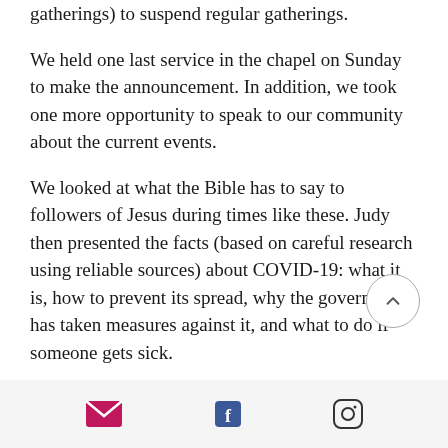gatherings) to suspend regular gatherings.
We held one last service in the chapel on Sunday to make the announcement. In addition, we took one more opportunity to speak to our community about the current events.
We looked at what the Bible has to say to followers of Jesus during times like these. Judy then presented the facts (based on careful research using reliable sources) about COVID-19: what it is, how to prevent its spread, why the government has taken measures against it, and what to do if someone gets sick.
Email | Facebook | Instagram